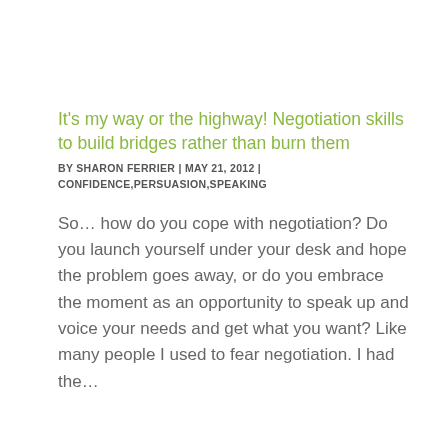It's my way or the highway! Negotiation skills to build bridges rather than burn them
BY SHARON FERRIER  |  MAY 21, 2012  |  CONFIDENCE,PERSUASION,SPEAKING
So… how do you cope with negotiation? Do you launch yourself under your desk and hope the problem goes away, or do you embrace the moment as an opportunity to speak up and voice your needs and get what you want? Like many people I used to fear negotiation. I had the…